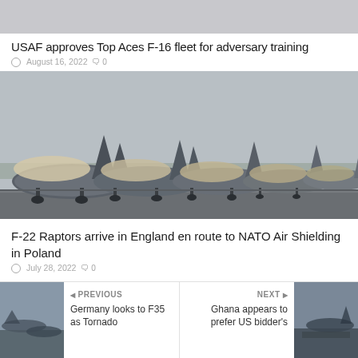[Figure (photo): Top portion of a partially visible aircraft photo, gray sky background]
USAF approves Top Aces F-16 fleet for adversary training
August 16, 2022  0
[Figure (photo): Row of F-22 Raptor fighter jets lined up on a tarmac with canvas covers over cockpits, overcast sky and tree line in background]
F-22 Raptors arrive in England en route to NATO Air Shielding in Poland
July 28, 2022  0
◀ PREVIOUS
Germany looks to F35 as Tornado
NEXT ▶
Ghana appears to prefer US bidder's